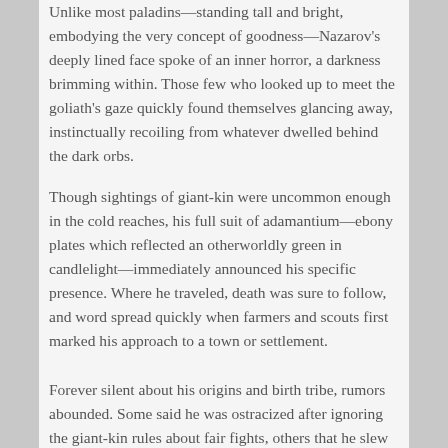Unlike most paladins—standing tall and bright, embodying the very concept of goodness—Nazarov's deeply lined face spoke of an inner horror, a darkness brimming within. Those few who looked up to meet the goliath's gaze quickly found themselves glancing away, instinctually recoiling from whatever dwelled behind the dark orbs.
Though sightings of giant-kin were uncommon enough in the cold reaches, his full suit of adamantium—ebony plates which reflected an otherworldly green in candlelight—immediately announced his specific presence. Where he traveled, death was sure to follow, and word spread quickly when farmers and scouts first marked his approach to a town or settlement.
Forever silent about his origins and birth tribe, rumors abounded. Some said he was ostracized after ignoring the giant-kin rules about fair fights, others that he slew his own chieftain as an act of tribute to his patron deity